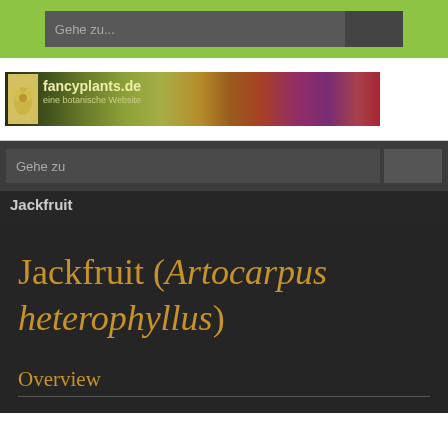Gehe zu...
[Figure (screenshot): fancyplants.de banner - eine botanische Website, with colorful flower photos]
Gehe zu
Jackfruit
Jackfruit (Artocarpus heterophyllus)
Overview